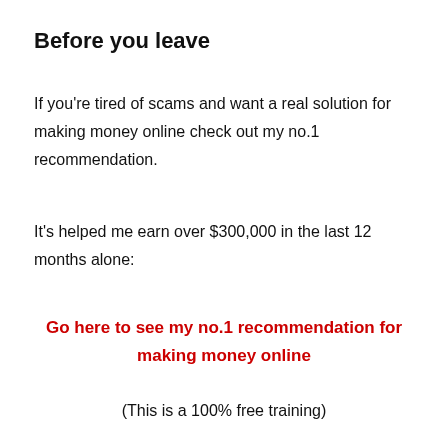Before you leave
If you're tired of scams and want a real solution for making money online check out my no.1 recommendation.
It's helped me earn over $300,000 in the last 12 months alone:
Go here to see my no.1 recommendation for making money online
(This is a 100% free training)